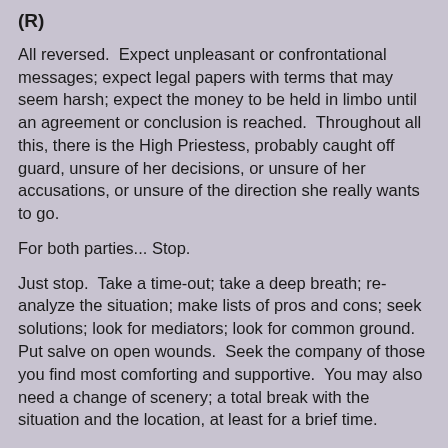(R)
All reversed.  Expect unpleasant or confrontational messages; expect legal papers with terms that may seem harsh; expect the money to be held in limbo until an agreement or conclusion is reached.  Throughout all this, there is the High Priestess, probably caught off guard, unsure of her decisions, or unsure of her accusations, or unsure of the direction she really wants to go.
For both parties... Stop.
Just stop.  Take a time-out; take a deep breath; re-analyze the situation; make lists of pros and cons; seek solutions; look for mediators; look for common ground.  Put salve on open wounds.  Seek the company of those you find most comforting and supportive.  You may also need a change of scenery; a total break with the situation and the location, at least for a brief time.
This is a process, and it will have to play out to its natural conclusion.